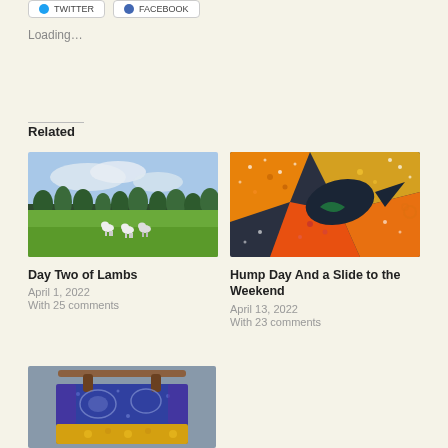[Figure (other): Twitter and Facebook share buttons at top]
Loading...
Related
[Figure (photo): Photo of a green field with several lambs/sheep grazing, trees in background, blue sky with clouds]
[Figure (photo): Close-up of colorful quilt fabric with orange, dark blue/grey, gold, and floral dot patterns]
Day Two of Lambs
April 1, 2022
With 25 comments
Hump Day And a Slide to the Weekend
April 13, 2022
With 23 comments
[Figure (photo): Photo of a colorful quilted tote bag with blue, purple, and yellow fabric patterns hanging from a rack]